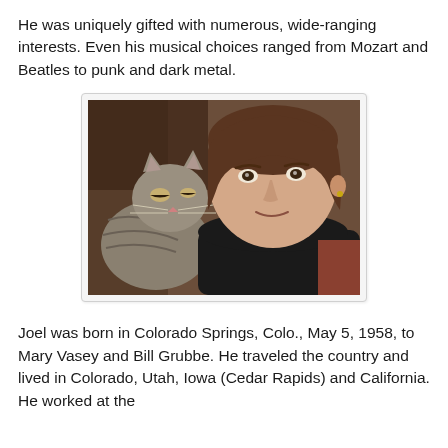He was uniquely gifted with numerous, wide-ranging interests. Even his musical choices ranged from Mozart and Beatles to punk and dark metal.
[Figure (photo): A man with shoulder-length brown hair smiling, with a tabby cat resting against his shoulder. Indoor setting with warm-toned background.]
Joel was born in Colorado Springs, Colo., May 5, 1958, to Mary Vasey and Bill Grubbe. He traveled the country and lived in Colorado, Utah, Iowa (Cedar Rapids) and California. He worked at the